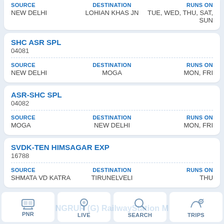| SOURCE | DESTINATION | RUNS ON |
| --- | --- | --- |
| NEW DELHI | LOHIAN KHAS JN | TUE, WED, THU, SAT, SUN |
SHC ASR SPL
04081
| SOURCE | DESTINATION | RUNS ON |
| --- | --- | --- |
| NEW DELHI | MOGA | MON, FRI |
ASR-SHC SPL
04082
| SOURCE | DESTINATION | RUNS ON |
| --- | --- | --- |
| MOGA | NEW DELHI | MON, FRI |
SVDK-TEN HIMSAGAR EXP
16788
| SOURCE | DESTINATION | RUNS ON |
| --- | --- | --- |
| SHMATA VD KATRA | TIRUNELVELI | THU |
PNR | LIVE | SEARCH | TRIPS